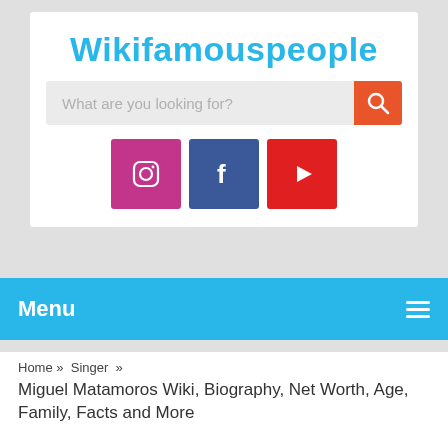Wikifamouspeople
[Figure (screenshot): Search bar with placeholder text 'What are you looking for?' and an orange search button on the right]
[Figure (infographic): Social media icons: Instagram (pink/purple), Facebook (dark blue), YouTube (red)]
Menu
Home » Singer »
Miguel Matamoros Wiki, Biography, Net Worth, Age, Family, Facts and More